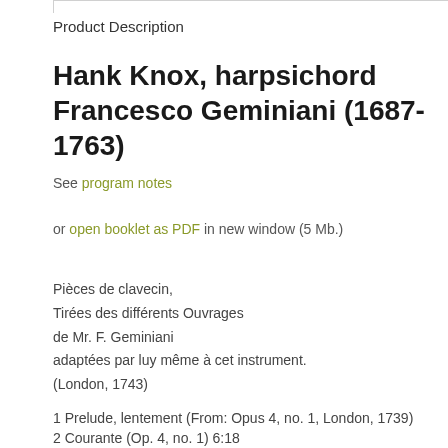Product Description
Hank Knox, harpsichord
Francesco Geminiani (1687-1763)
See program notes
or open booklet as PDF in new window (5 Mb.)
Pièces de clavecin,
Tirées des différents Ouvrages
de Mr. F. Geminiani
adaptées par luy même à cet instrument.
(London, 1743)
1 Prelude, lentement (From: Opus 4, no. 1, London, 1739)
2 Courante (Op. 4, no. 1) 6:18